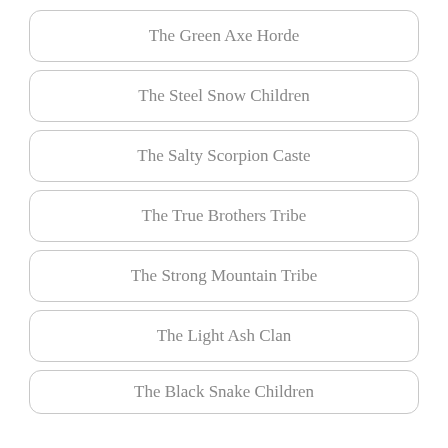The Green Axe Horde
The Steel Snow Children
The Salty Scorpion Caste
The True Brothers Tribe
The Strong Mountain Tribe
The Light Ash Clan
The Black Snake Children